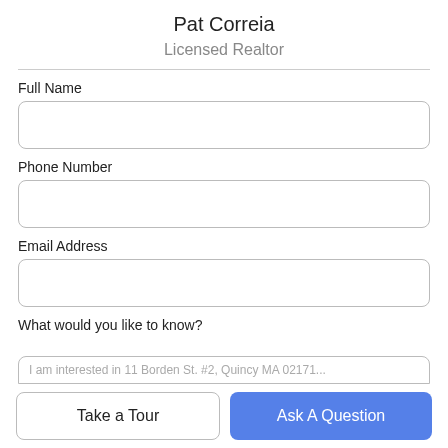Pat Correia
Licensed Realtor
Full Name
Phone Number
Email Address
What would you like to know?
I am interested in 11 Borden St. #2, Quincy MA 02171...
Take a Tour
Ask A Question